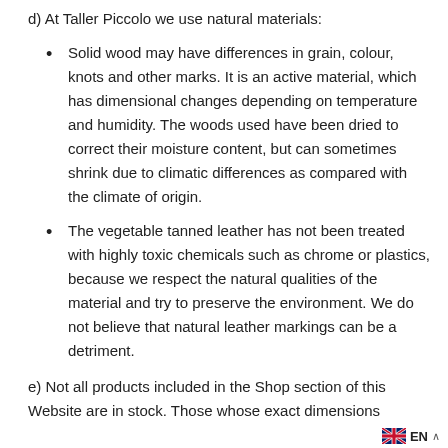d) At Taller Piccolo we use natural materials:
Solid wood may have differences in grain, colour, knots and other marks. It is an active material, which has dimensional changes depending on temperature and humidity. The woods used have been dried to correct their moisture content, but can sometimes shrink due to climatic differences as compared with the climate of origin.
The vegetable tanned leather has not been treated with highly toxic chemicals such as chrome or plastics, because we respect the natural qualities of the material and try to preserve the environment. We do not believe that natural leather markings can be a detriment.
e) Not all products included in the Shop section of this Website are in stock. Those whose exact dimensions
EN